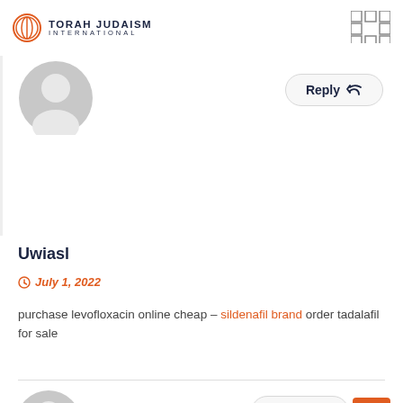Torah Judaism International
[Figure (illustration): Gray default user avatar circle icon at top]
Reply
Uwiasl
July 1, 2022
purchase levofloxacin online cheap – sildenafil brand order tadalafil for sale
[Figure (illustration): Gray default user avatar circle icon at bottom]
Reply